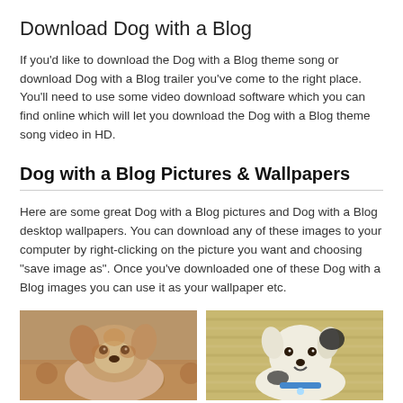Download Dog with a Blog
If you'd like to download the Dog with a Blog theme song or download Dog with a Blog trailer you've come to the right place. You'll need to use some video download software which you can find online which will let you download the Dog with a Blog theme song video in HD.
Dog with a Blog Pictures & Wallpapers
Here are some great Dog with a Blog pictures and Dog with a Blog desktop wallpapers. You can download any of these images to your computer by right-clicking on the picture you want and choosing "save image as". Once you've downloaded one of these Dog with a Blog images you can use it as your wallpaper etc.
[Figure (photo): Two photos of dogs side by side. Left: a brown and white dog with floppy ears sitting on a patterned couch. Right: a white dog with black spots standing on a woven surface.]